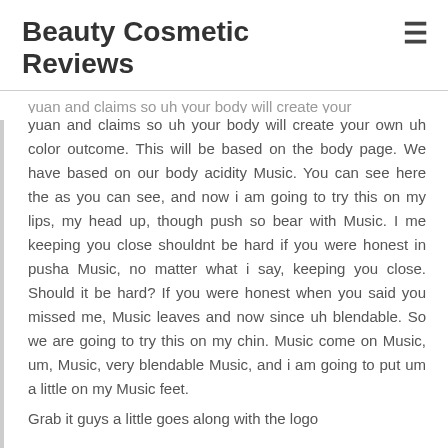Beauty Cosmetic Reviews
yuan and claims so uh your body will create your own uh color outcome. This will be based on the body page. We have based on our body acidity Music. You can see here the as you can see, and now i am going to try this on my lips, my head up, though push so bear with Music. I me keeping you close shouldnt be hard if you were honest in pusha Music, no matter what i say, keeping you close. Should it be hard? If you were honest when you said you missed me, Music leaves and now since uh blendable. So we are going to try this on my chin. Music come on Music, um, Music, very blendable Music, and i am going to put um a little on my Music feet.
Grab it guys a little goes along with the logo